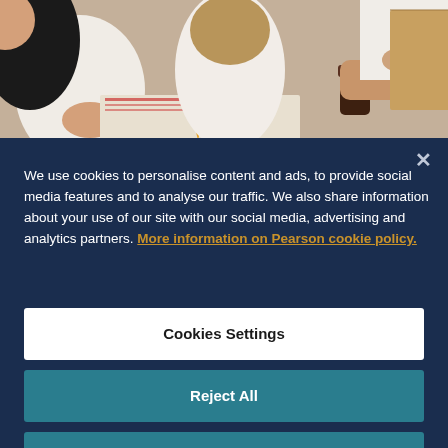[Figure (photo): Group of young people studying together around a table, with notebooks and pencils, one person holding a coffee cup.]
We use cookies to personalise content and ads, to provide social media features and to analyse our traffic. We also share information about your use of our site with our social media, advertising and analytics partners. More information on Pearson cookie policy.
Cookies Settings
Reject All
Accept All Cookies